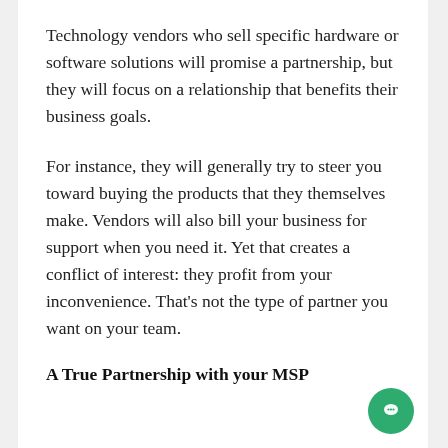Technology vendors who sell specific hardware or software solutions will promise a partnership, but they will focus on a relationship that benefits their business goals.
For instance, they will generally try to steer you toward buying the products that they themselves make. Vendors will also bill your business for support when you need it. Yet that creates a conflict of interest: they profit from your inconvenience. That's not the type of partner you want on your team.
A True Partnership with your MSP